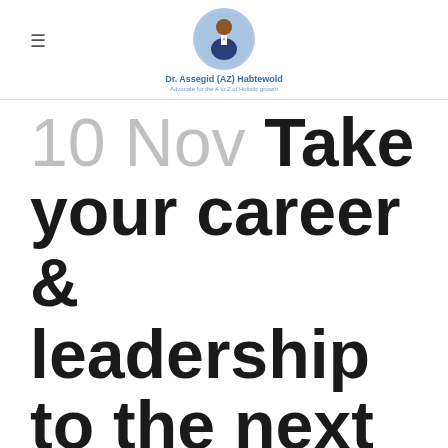Dr. Assegid (AZ) Habtewold – Advocate for the A to Z of Holistic growth
10 Nov Take your career & leadership to the next height in